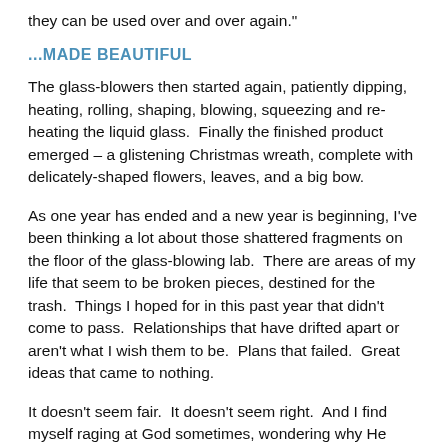they can be used over and over again."
...MADE BEAUTIFUL
The glass-blowers then started again, patiently dipping, heating, rolling, shaping, blowing, squeezing and re-heating the liquid glass.  Finally the finished product emerged – a glistening Christmas wreath, complete with delicately-shaped flowers, leaves, and a big bow.
As one year has ended and a new year is beginning, I've been thinking a lot about those shattered fragments on the floor of the glass-blowing lab.  There are areas of my life that seem to be broken pieces, destined for the trash.  Things I hoped for in this past year that didn't come to pass.  Relationships that have drifted apart or aren't what I wish them to be.  Plans that failed.  Great ideas that came to nothing.
It doesn't seem fair.  It doesn't seem right.  And I find myself raging at God sometimes, wondering why He allowed these things.  The